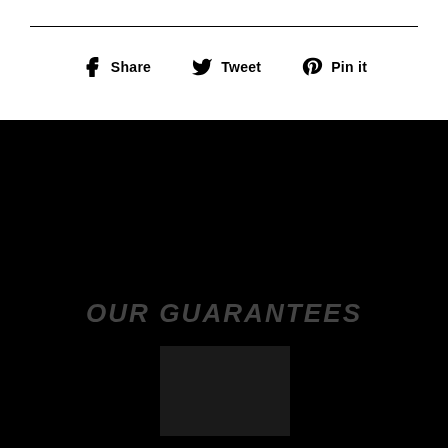Share   Tweet   Pin it
OUR GUARANTEES
[Figure (other): Dark square/box element on black background]
MENU
ship worlwide